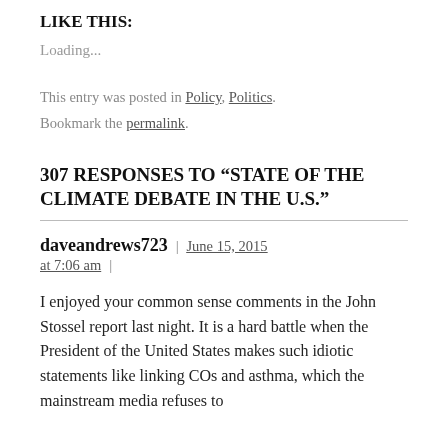LIKE THIS:
Loading...
This entry was posted in Policy, Politics. Bookmark the permalink.
307 RESPONSES TO “STATE OF THE CLIMATE DEBATE IN THE U.S.”
daveandrews723 | June 15, 2015 at 7:06 am |
I enjoyed your common sense comments in the John Stossel report last night. It is a hard battle when the President of the United States makes such idiotic statements like linking COs and asthma, which the mainstream media refuses to